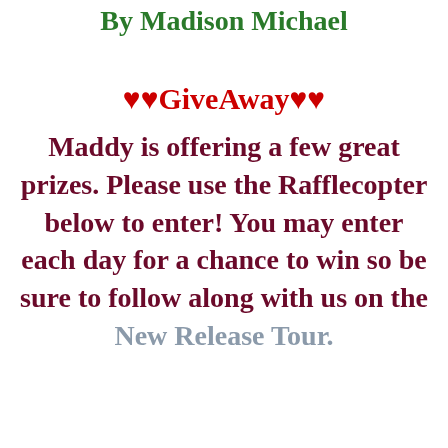By Madison Michael
♥♥GiveAway♥♥
Maddy is offering a few great prizes. Please use the Rafflecopter below to enter! You may enter each day for a chance to win so be sure to follow along with us on the New Release Tour.